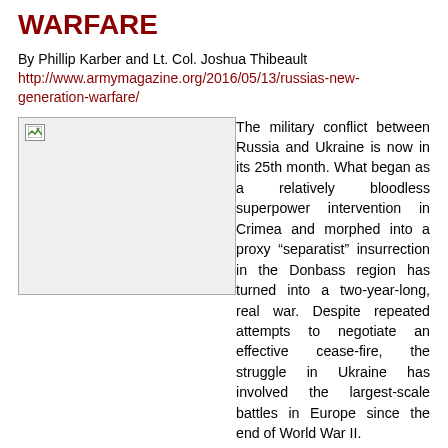WARFARE
By Phillip Karber and Lt. Col. Joshua Thibeault
http://www.armymagazine.org/2016/05/13/russias-new-generation-warfare/
[Figure (photo): Image placeholder (broken image icon) — photograph related to Russia-Ukraine conflict]
The military conflict between Russia and Ukraine is now in its 25th month. What began as a relatively bloodless superpower intervention in Crimea and morphed into a proxy “separatist” insurrection in the Donbass region has turned into a two-year-long, real war. Despite repeated attempts to negotiate an effective cease-fire, the struggle in Ukraine has involved the largest-scale battles in Europe since the end of World War II.